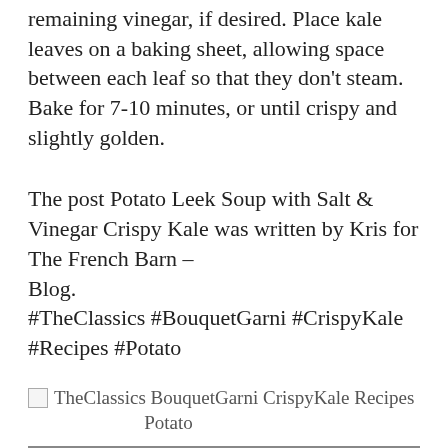remaining vinegar, if desired. Place kale leaves on a baking sheet, allowing space between each leaf so that they don't steam. Bake for 7-10 minutes, or until crispy and slightly golden.
The post Potato Leek Soup with Salt & Vinegar Crispy Kale was written by Kris for The French Barn – Blog.
#TheClassics #BouquetGarni #CrispyKale #Recipes #Potato
[Figure (photo): Broken image placeholder with alt text: TheClassics BouquetGarni CrispyKale Recipes Potato]